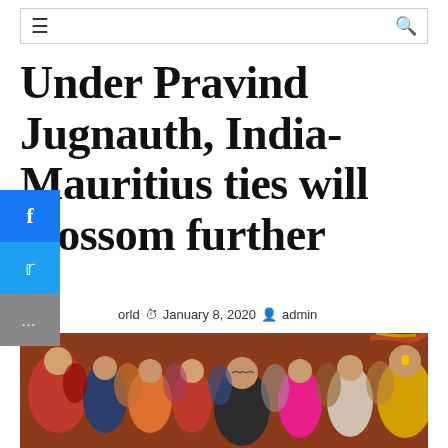Navigation bar with hamburger menu and search icon
Under Pravind Jugnauth, India-Mauritius ties will blossom further
World  January 8, 2020  admin
[Figure (photo): Group of people at a religious or official gathering, including women in colorful attire and a man with a yellow tilak in the foreground on the right]